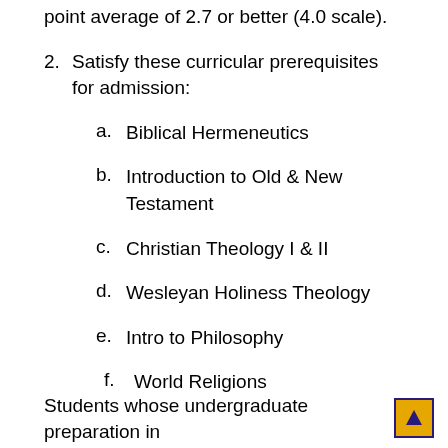point average of 2.7 or better (4.0 scale).
2. Satisfy these curricular prerequisites for admission:
a. Biblical Hermeneutics
b. Introduction to Old & New Testament
c. Christian Theology I & II
d. Wesleyan Holiness Theology
e. Intro to Philosophy
f. World Religions
Students whose undergraduate preparation in